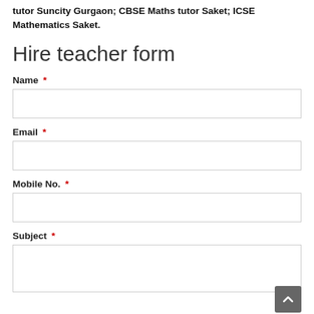tutor Suncity Gurgaon; CBSE Maths tutor Saket; ICSE Mathematics Saket.
Hire teacher form
Name *
Email *
Mobile No. *
Subject *